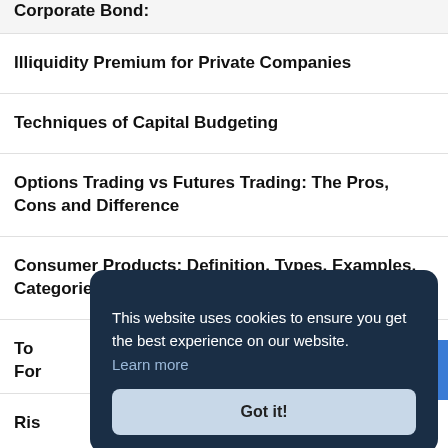Corporate Bond:
Illiquidity Premium for Private Companies
Techniques of Capital Budgeting
Options Trading vs Futures Trading: The Pros, Cons and Difference
Consumer Products: Definition, Types, Examples, Categories
To... For...
Ris...
This website uses cookies to ensure you get the best experience on our website. Learn more